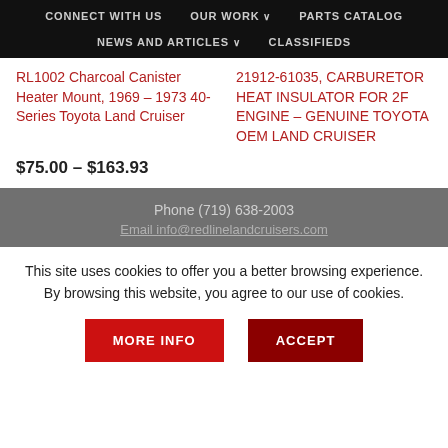CONNECT WITH US  OUR WORK  PARTS CATALOG  NEWS AND ARTICLES  CLASSIFIEDS
RL1002 Charcoal Canister Heater Mount, 1969 – 1973 40-Series Toyota Land Cruiser
21912-61035, CARBURETOR HEAT INSULATOR FOR 2F ENGINE – GENUINE TOYOTA OEM LAND CRUISER
$75.00 – $163.93
Phone (719) 638-2003
Email info@redlinelandcruisers.com
This site uses cookies to offer you a better browsing experience. By browsing this website, you agree to our use of cookies.
MORE INFO  ACCEPT